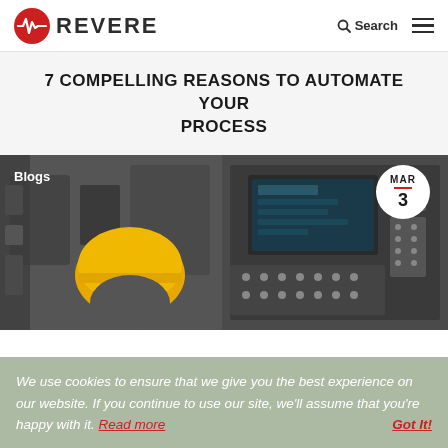REVERE | Search
7 COMPELLING REASONS TO AUTOMATE YOUR PROCESS
[Figure (photo): Industrial photo showing a worker in a yellow hard hat near machinery on the left, and an industrial control panel with buttons and a screen on the right. The photo is split into two panels. A 'Blogs' label appears in the top left and a date badge showing 'MAR 3' appears in the top right.]
We use cookies to ensure that we give you the best experience on our website. If you continue to use our site, we'll assume that you're happy with it. Read more  Got It!